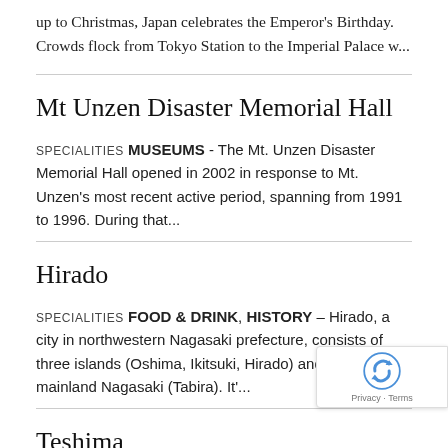up to Christmas, Japan celebrates the Emperor's Birthday. Crowds flock from Tokyo Station to the Imperial Palace w...
Mt Unzen Disaster Memorial Hall
SPECIALITIES MUSEUMS - The Mt. Unzen Disaster Memorial Hall opened in 2002 in response to Mt. Unzen's most recent active period, spanning from 1991 to 1996. During that...
Hirado
SPECIALITIES FOOD & DRINK, HISTORY – Hirado, a city in northwestern Nagasaki prefecture, consists of three islands (Oshima, Ikitsuki, Hirado) and a part of mainland Nagasaki (Tabira). It'...
Teshima
SPECIALITIES CULTURE – Somewhere near the edge of the world Start: Teshima...